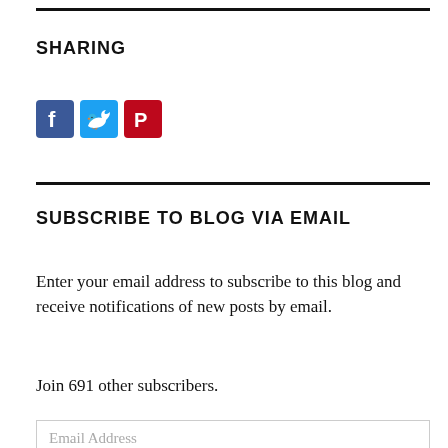SHARING
[Figure (other): Social sharing icons: Facebook (blue), Twitter (light blue), Pinterest (red)]
SUBSCRIBE TO BLOG VIA EMAIL
Enter your email address to subscribe to this blog and receive notifications of new posts by email.
Join 691 other subscribers.
Email Address